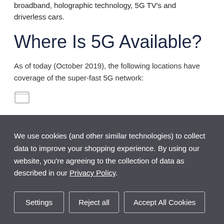broadband, holographic technology, 5G TV's and driverless cars.
Where Is 5G Available?
As of today (October 2019), the following locations have coverage of the super-fast 5G network:
[Figure (other): Small icon/image partially visible]
We use cookies (and other similar technologies) to collect data to improve your shopping experience. By using our website, you're agreeing to the collection of data as described in our Privacy Policy.